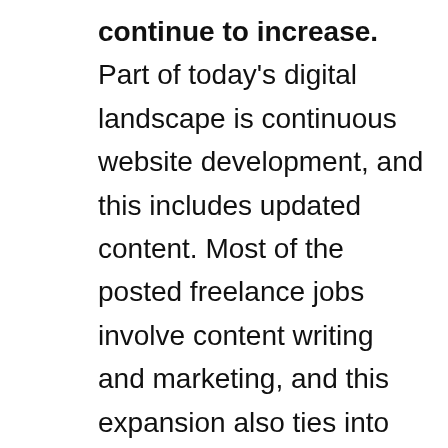continue to increase. Part of today's digital landscape is continuous website development, and this includes updated content. Most of the posted freelance jobs involve content writing and marketing, and this expansion also ties into increased rates and more leeway in terms of project flexibility. You can choose from a variety of long-term assignments and come up with a project that meets both you and your employer's criteria.
Video blogs are everywhere. Micro-video blogging sites such as Vine and Instagram